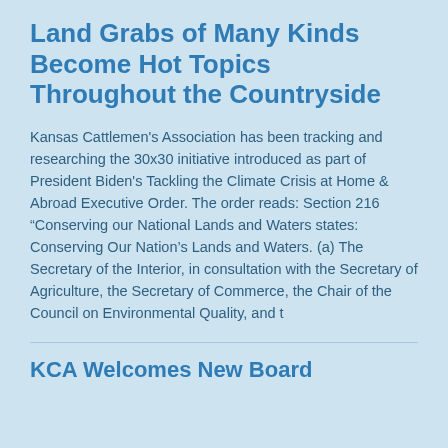Land Grabs of Many Kinds Become Hot Topics Throughout the Countryside
Kansas Cattlemen's Association has been tracking and researching the 30x30 initiative introduced as part of President Biden's Tackling the Climate Crisis at Home & Abroad Executive Order. The order reads: Section 216 “Conserving our National Lands and Waters states: Conserving Our Nation's Lands and Waters. (a) The Secretary of the Interior, in consultation with the Secretary of Agriculture, the Secretary of Commerce, the Chair of the Council on Environmental Quality, and t
KCA Welcomes New Board